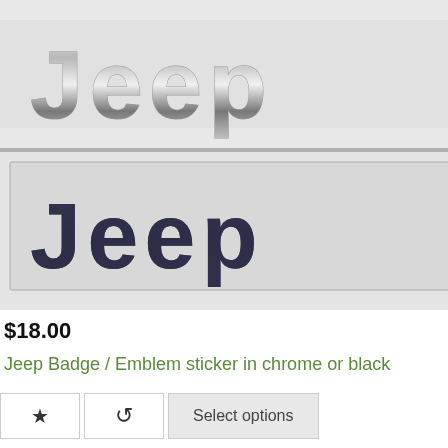[Figure (photo): Two Jeep badge/emblem stickers shown in packaging. Top one shows chrome/silver metallic 'Jeep' lettering. Bottom one shows dark/black 'Jeep' lettering. Both are 3D emblem stickers placed on a light background.]
$18.00
Jeep Badge / Emblem sticker in chrome or black
Select options